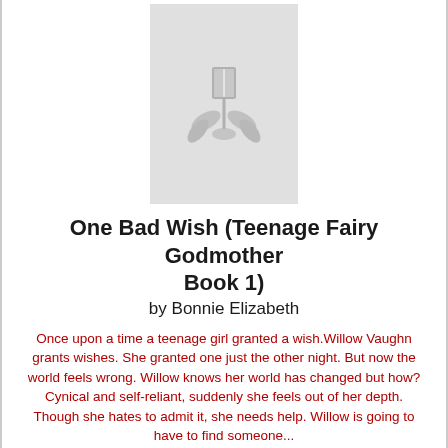[Figure (illustration): Book placeholder image with a stylized open book and leaf/flower design on a light gray background]
One Bad Wish (Teenage Fairy Godmother Book 1)
by Bonnie Elizabeth
Once upon a time a teenage girl granted a wish.Willow Vaughn grants wishes. She granted one just the other night. But now the world feels wrong. Willow knows her world has changed but how? Cynical and self-reliant, suddenly she feels out of her depth. Though she hates to admit it, she needs help. Willow is going to have to find someone...
Today's Bargain Price: $2.99
[Figure (illustration): Orange Buy Now button (partially visible at bottom)]